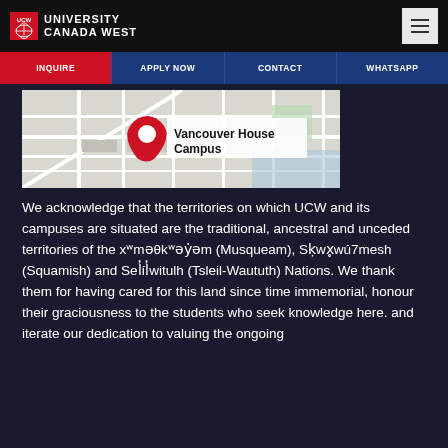[Figure (logo): University Canada West logo — red box with UCW text and globe icon, followed by UNIVERSITY CANADA WEST wordmark in white on dark background]
INQUIRE | APPLY NOW | CONTACT | WHATSAPP
[Figure (map): Google Maps screenshot showing Vancouver House Campus location with a red map pin marker and label 'Vancouver House Campus']
We acknowledge that the territories on which UCW and its campuses are situated are the traditional, ancestral and unceded territories of the xʷməθkʷəy̓əm (Musqueam), Sḵwx̱wú7mesh (Squamish) and Sel̓íl̓witulh (Tsleil-Waututh) Nations. We thank them for having cared for this land since time immemorial, honour their graciousness to the students who seek knowledge here, and iterate our dedication to valuing the ongoing